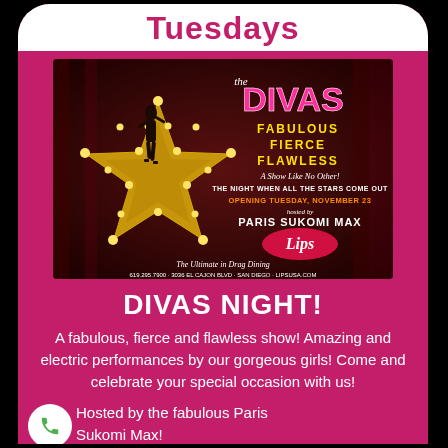Tuesdays
[Figure (illustration): The Divas promotional poster for Lips drag dining restaurant, featuring a star shape with bulb lights, a silhouette figure, and text: FABULOUS FIERCE FLAWLESS, A Show Like No Other! THE NIGHT WHEN ALL THE STARS COME OUT, OPENING TUESDAY, NOVEMBER 23, hosted by PARIS SUKOMI MAX, Lips - The Ultimate in Drag Dining, 619.295.7900 · 3036 EL CAJON BLVD · SAN DIEGO · LIPSUSA.COM]
DIVAS NIGHT!
A fabulous, fierce and flawless show! Amazing and electric performances by our gorgeous girls! Come and celebrate your special occasion with us!
Hosted by the fabulous Paris Sukomi Max!